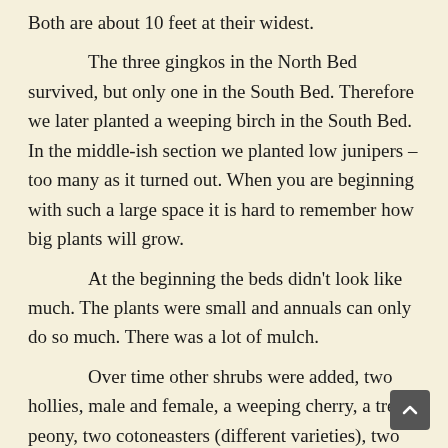Both are about 10 feet at their widest.
The three gingkos in the North Bed survived, but only one in the South Bed. Therefore we later planted a weeping birch in the South Bed. In the middle-ish section we planted low junipers – too many as it turned out. When you are beginning with such a large space it is hard to remember how big plants will grow.
At the beginning the beds didn't look like much. The plants were small and annuals can only do so much. There was a lot of mulch.
Over time other shrubs were added, two hollies, male and female, a weeping cherry, a tree peony, two cotoneasters (different varieties), two The Fairy roses, a Mothlight hydrangea which has grown very large, and an array of